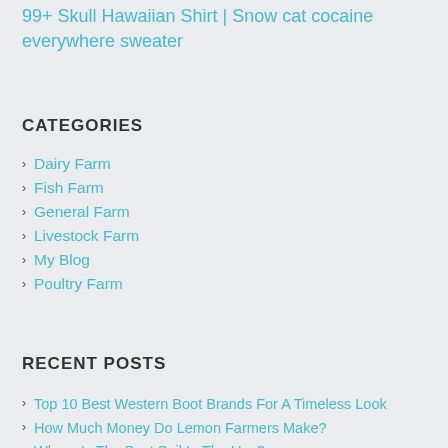99+ Skull Hawaiian Shirt | Snow cat cocaine everywhere sweater
CATEGORIES
Dairy Farm
Fish Farm
General Farm
Livestock Farm
My Blog
Poultry Farm
RECENT POSTS
Top 10 Best Western Boot Brands For A Timeless Look
How Much Money Do Lemon Farmers Make?
Where Is The Best Soil In The Usa?
How Long Does It Take For A Pig To Have Babies?